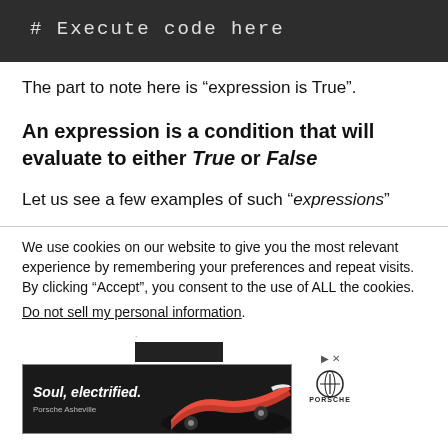[Figure (screenshot): Dark code block with monospace text '# Execute code here']
The part to note here is “expression is True”.
An expression is a condition that will evaluate to either True or False
Let us see a few examples of such “expressions”
We use cookies on our website to give you the most relevant experience by remembering your preferences and repeat visits. By clicking “Accept”, you consent to the use of ALL the cookies.
Do not sell my personal information.
[Figure (photo): Porsche advertisement showing red car with text 'Soul, electrified.' and 'Porsche Asheville' branding]